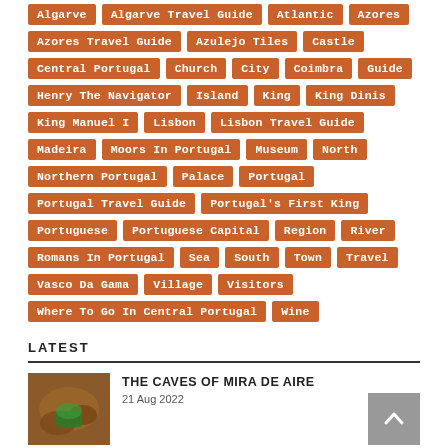Algarve
Algarve Travel Guide
Atlantic
Azores
Azores Travel Guide
Azulejo Tiles
Castle
Central Portugal
Church
City
Coimbra
Guide
Henry The Navigator
Island
King
King Dinis
King Manuel I
Lisbon
Lisbon Travel Guide
Madeira
Moors In Portugal
Museum
North
Northern Portugal
Palace
Portugal
Portugal Travel Guide
Portugal's First King
Portuguese
Portuguese Capital
Region
River
Romans In Portugal
Sea
South
Town
Travel
Vasco Da Gama
Village
Visitors
Where To Go In Central Portugal
Wine
LATEST
THE CAVES OF MIRA DE AIRE
21 Aug 2022